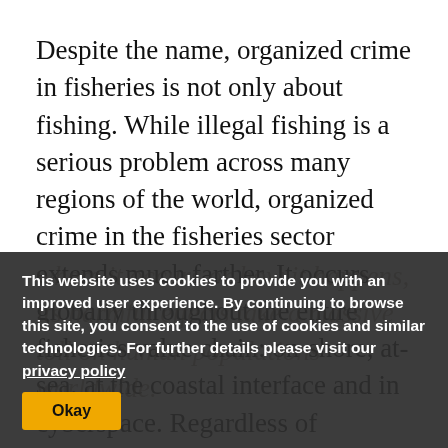Despite the name, organized crime in fisheries is not only about fishing. While illegal fishing is a serious problem across many regions of the world, organized crime in the fisheries sector extends much farther. It occurs globally throughout the entire fisheries value chain: on-shore, at-sea, at the coastal interface and in cyberspace. Regardless of where it occurs or how it happens, its harmful effects take a massive toll on human populations worldwide.
This website uses cookies to provide you with an improved user experience. By continuing to browse this site, you consent to the use of cookies and similar technologies. For further details please visit our privacy policy
Organized crime in the fisheries sector can take forms including drug and human trafficking, fraudulent catch documentation,